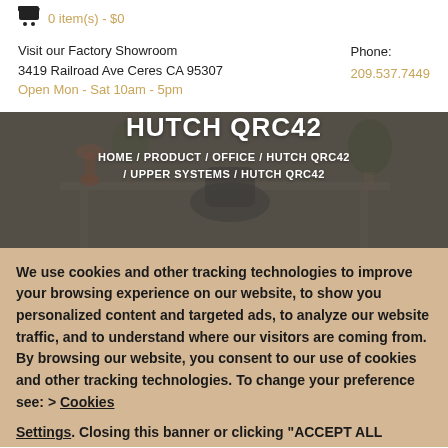My Cart
0 item(s) - $0
Visit our Factory Showroom
3419 Railroad Ave Ceres CA 95307
Open Mon - Sat 10am - 5pm
Phone:
209.537.7449
HUTCH QRC42
HOME / PRODUCT / OFFICE / HUTCH QRC42 / UPPER SYSTEMS / HUTCH QRC42
We use cookies and other tracking technologies to improve your browsing experience on our website, to show you personalized content and targeted ads, to analyze our website traffic, and to understand where our visitors are coming from. By browsing our website, you consent to our use of cookies and other tracking technologies. To change your preference see: > Cookies Settings. Closing this banner or clicking "ACCEPT ALL"